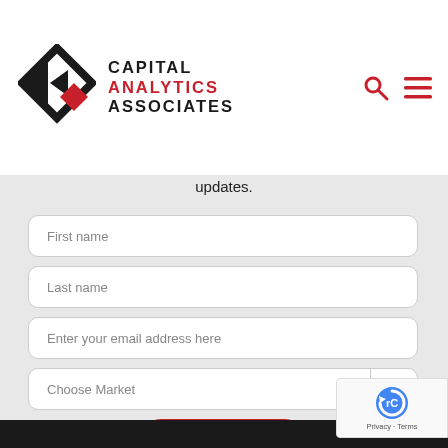[Figure (logo): Capital Analytics Associates logo with geometric diamond/arrow shape in black and red, alongside company name text]
updates.
[Figure (screenshot): Web form with fields: First name, Last name, Enter your email address here, Choose Market dropdown, and a red Subscribe button]
[Figure (other): Google reCAPTCHA badge with Privacy and Terms links]